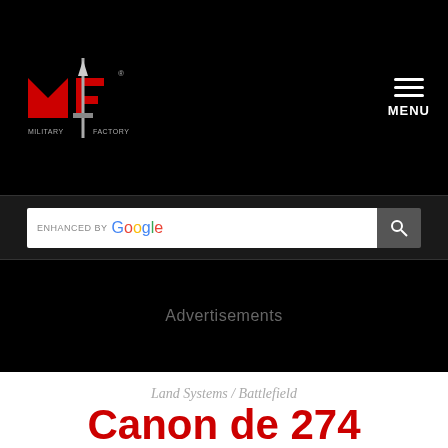[Figure (logo): Military Factory logo with red MF letters and sword/bayonet graphic on black background]
MENU
ENHANCED BY Google
Advertisements
Land Systems / Battlefield
Canon de 274